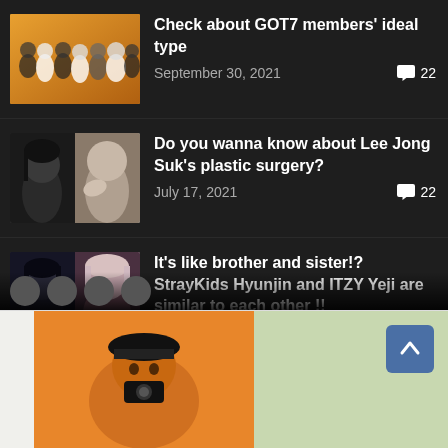Check about GOT7 members' ideal type — September 30, 2021 — 22 comments
Do you wanna know about Lee Jong Suk's plastic surgery? — July 17, 2021 — 22 comments
It's like brother and sister!? StrayKids Hyunjin and ITZY Yeji are similar to each other !! — November 3, 2021 — 22 comments
Let's see the most popular BTS
[Figure (screenshot): Orange background with partially visible person/character, bottom section of a webpage with a back-to-top button]